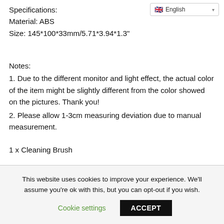[Figure (other): Language selector dropdown showing English with UK flag icon]
Specifications:
Material: ABS
Size: 145*100*33mm/5.71*3.94*1.3"
Notes:
1. Due to the different monitor and light effect, the actual color of the item might be slightly different from the color showed on the pictures. Thank you!
2. Please allow 1-3cm measuring deviation due to manual measurement.
1 x Cleaning Brush
This website uses cookies to improve your experience. We'll assume you're ok with this, but you can opt-out if you wish.
Cookie settings    ACCEPT